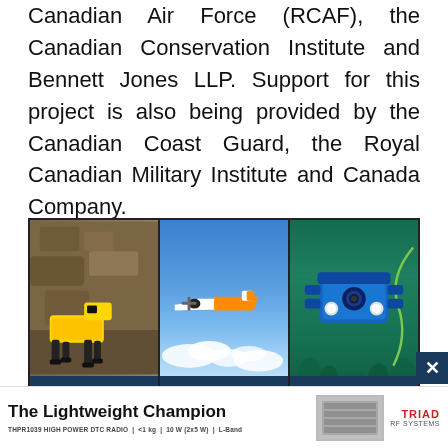Canadian Air Force (RCAF), the Canadian Conservation Institute and Bennett Jones LLP. Support for this project is also being provided by the Canadian Coast Guard, the Royal Canadian Military Institute and Canada Company.
[Figure (photo): Three-panel image showing robotic systems for land, air, and sea. Left panel: yellow quadruped robot dog on rocky terrain (LAND). Center panel: white and orange fixed-wing drone in blue sky (AIR). Right panel: blue underwater ROV with lights in underwater environment (SEA).]
[Figure (photo): Advertisement banner: 'The Lightweight Champion' by TRIAD RF SYSTEMS. Product: THPR1039 HIGH POWER DTC RADIO, <1kg, 10W (2x5W), L-Band.]